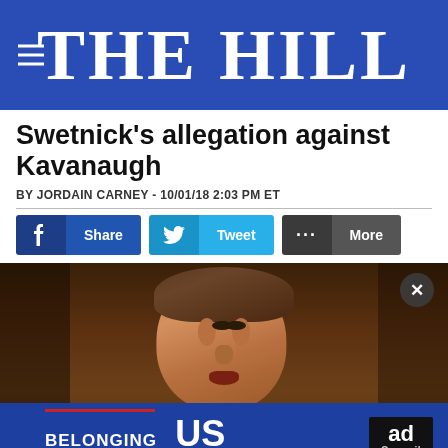THE HILL
Swetnick's allegation against Kavanaugh
BY JORDAIN CARNEY - 10/01/18 2:03 PM ET
[Figure (photo): Photo of Brett Kavanaugh gesturing with hands during Senate testimony, with an ad overlay at the bottom reading 'BELONGING BEGINS WITH US' from the Ad Council]
BELONGING BEGINS WITH US — Ad Council